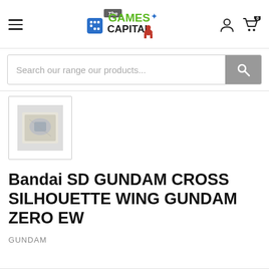The Games Capital — navigation header with hamburger menu, logo, user icon, and cart (0)
Search our range our products...
[Figure (photo): Small thumbnail image of product — Bandai SD Gundam Cross Silhouette Wing Gundam Zero EW in plastic bag packaging]
Bandai SD GUNDAM CROSS SILHOUETTE WING GUNDAM ZERO EW
GUNDAM